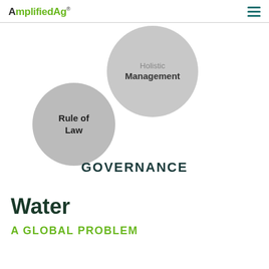AmplifiedAg®
[Figure (infographic): Two overlapping grey circles representing 'Holistic Management' (larger, upper right) and 'Rule of Law' (smaller, lower left), with 'GOVERNANCE' label below them.]
Water
A GLOBAL PROBLEM